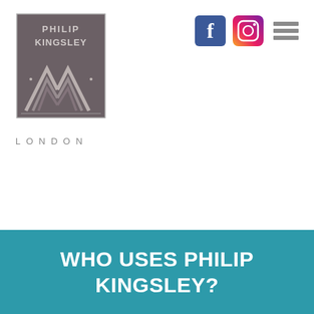[Figure (logo): Philip Kingsley London logo — dark grey square with stylized chevron/mountain graphic and 'PHILIP KINGSLEY' text above, 'LONDON' text below in spaced capitals]
[Figure (infographic): Navigation bar icons: Facebook logo (blue square with f), Instagram camera icon (colorful), and hamburger menu icon (three grey horizontal lines)]
WHO USES PHILIP KINGSLEY?